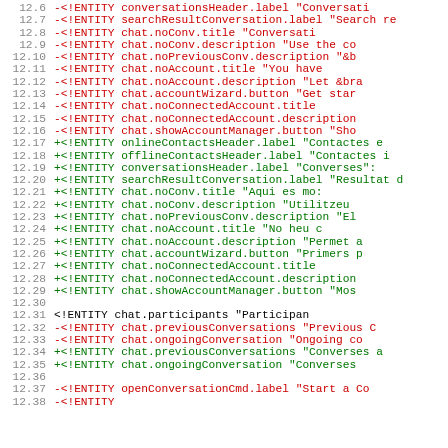Code diff showing ENTITY declarations, lines 12.6 through 12.38, with removed lines (red, prefix -) and added lines (green, prefix +), and unchanged lines (black).